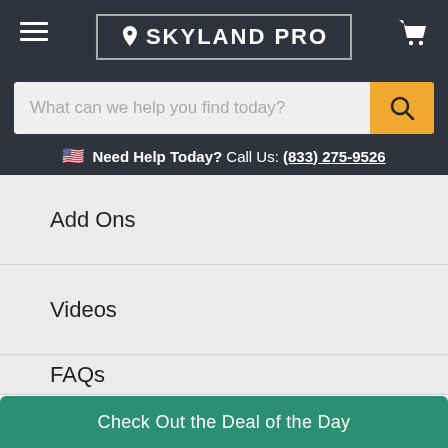[Figure (logo): Skyland Pro logo with location pin icon in white text on dark background with border]
[Figure (screenshot): Search bar with placeholder text and orange search button]
Need Help Today? Call Us: (833) 275-9526
Add Ons
Videos
FAQs
Shipping
Check Out the Deal of the Day